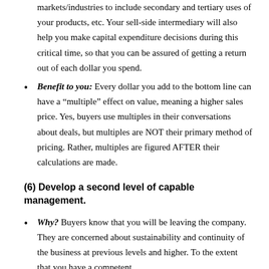markets/industries to include secondary and tertiary uses of your products, etc. Your sell-side intermediary will also help you make capital expenditure decisions during this critical time, so that you can be assured of getting a return out of each dollar you spend.
Benefit to you: Every dollar you add to the bottom line can have a “multiple” effect on value, meaning a higher sales price. Yes, buyers use multiples in their conversations about deals, but multiples are NOT their primary method of pricing. Rather, multiples are figured AFTER their calculations are made.
(6) Develop a second level of capable management.
Why? Buyers know that you will be leaving the company. They are concerned about sustainability and continuity of the business at previous levels and higher. To the extent that you have a competent